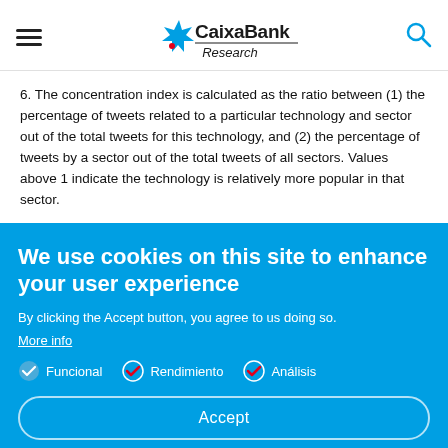CaixaBank Research
6. The concentration index is calculated as the ratio between (1) the percentage of tweets related to a particular technology and sector out of the total tweets for this technology, and (2) the percentage of tweets by a sector out of the total tweets of all sectors. Values above 1 indicate the technology is relatively more popular in that sector.
We use cookies on this site to enhance your user experience
By clicking the Accept button, you agree to us doing so.
More info
Funcional
Rendimiento
Análisis
Accept